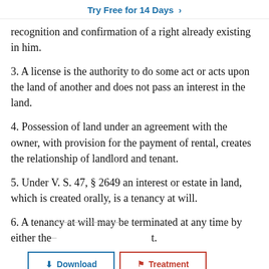Try Free for 14 Days >
recognition and confirmation of a right already existing in him.
3. A license is the authority to do some act or acts upon the land of another and does not pass an interest in the land.
4. Possession of land under an agreement with the owner, with provision for the payment of rental, creates the relationship of landlord and tenant.
5. Under V. S. 47, § 2649 an interest or estate in land, which is created orally, is a tenancy at will.
6. A tenancy at will may be terminated at any time by either the [landlord or the tenant].
7. A tenancy at will may be terminated by any act or